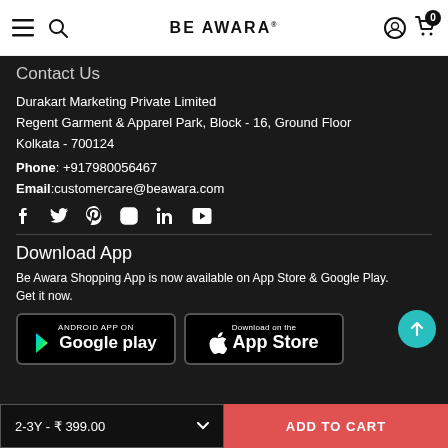BE AWARA
Contact Us
Durakart Marketing Private Limited
Regent Garment & Apparel Park, Block - 16, Ground Floor
Kolkata - 700124
Phone: +917980056467
Email: customercare@beawara.com
[Figure (other): Social media icons: Facebook, Twitter, Pinterest, Instagram, LinkedIn, YouTube]
Download App
Be Awara Shopping App is now available on App Store & Google Play. Get it now.
[Figure (other): Google Play and App Store download buttons]
2-3Y - ₹ 399.00
ADD TO CART